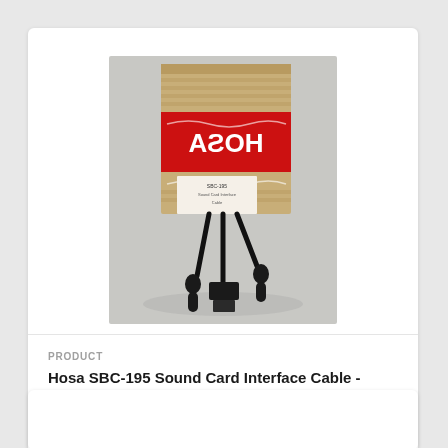[Figure (photo): Hosa SBC-195 Sound Card Interface Cable product photo showing the cable bundle with connectors and original packaging box with Hosa branding in red and gold]
PRODUCT
Hosa SBC-195 Sound Card Interface Cable - Discontinued
$15.80 $39.50